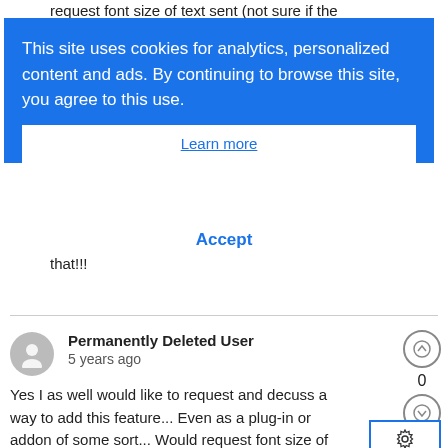request font size of text sent (not sure if the
This site uses cookies for analytics, personalized content and ads. By continuing to browse this site, you agree to this use.
Learn more
Accept
that!!!
Permanently Deleted User
5 years ago
Yes I as well would like to request and decuss a way to add this feature... Even as a plug-in or addon of some sort... Would request font size of text sent (not sure if the